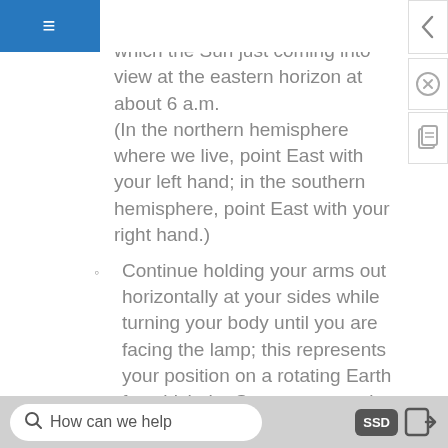≡
position on a rotating Earth for which the Sun just coming into view at the eastern horizon at about 6 a.m.
(In the northern hemisphere where we live, point East with your left hand; in the southern hemisphere, point East with your right hand.)
Continue holding your arms out horizontally at your sides while turning your body until you are facing the lamp; this represents your position on a rotating Earth for which the Sun appears to be high in the sky at about noon.
Continue turning your body until your other hand is pointing at the lamp; this represents your position on a rotating Earth for which the Sun is passing out of view at the western horizon at about 6 p.m.
How can we help   SSD